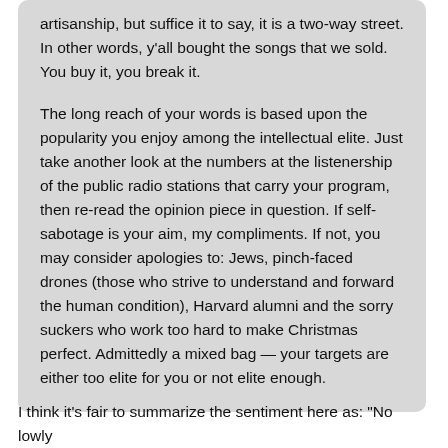artisanship, but suffice it to say, it is a two-way street. In other words, y'all bought the songs that we sold. You buy it, you break it.
The long reach of your words is based upon the popularity you enjoy among the intellectual elite. Just take another look at the numbers at the listenership of the public radio stations that carry your program, then re-read the opinion piece in question. If self-sabotage is your aim, my compliments. If not, you may consider apologies to: Jews, pinch-faced drones (those who strive to understand and forward the human condition), Harvard alumni and the sorry suckers who work too hard to make Christmas perfect. Admittedly a mixed bag — your targets are either too elite for you or not elite enough.
I think it's fair to summarize the sentiment here as: "No lowly